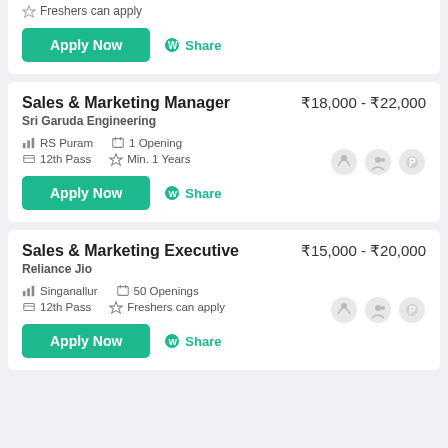Freshers can apply
Apply Now  Share
Sales & Marketing Manager
Sri Garuda Engineering
₹18,000 - ₹22,000
RS Puram  1 Opening  12th Pass  Min. 1 Years
Apply Now  Share
Sales & Marketing Executive
Reliance Jio
₹15,000 - ₹20,000
Singanallur  50 Openings  12th Pass  Freshers can apply
Apply Now  Share